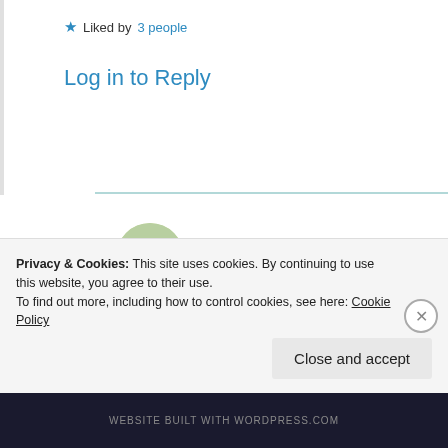★ Liked by 3 people
Log in to Reply
Suma Reddy
9th Jun 2021 at 3:55 am
That's true, when my thoughts mutes me to silence, my Soul takes a free imagery tour to the beautiful places n
Privacy & Cookies: This site uses cookies. By continuing to use this website, you agree to their use.
To find out more, including how to control cookies, see here: Cookie Policy
Close and accept